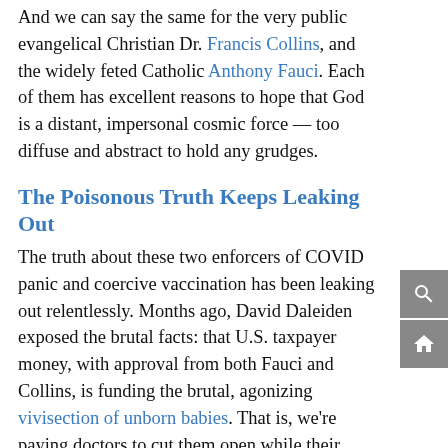And we can say the same for the very public evangelical Christian Dr. Francis Collins, and the widely feted Catholic Anthony Fauci. Each of them has excellent reasons to hope that God is a distant, impersonal cosmic force — too diffuse and abstract to hold any grudges.
The Poisonous Truth Keeps Leaking Out
The truth about these two enforcers of COVID panic and coercive vaccination has been leaking out relentlessly. Months ago, David Daleiden exposed the brutal facts: that U.S. taxpayer money, with approval from both Fauci and Collins, is funding the brutal, agonizing vivisection of unborn babies. That is, we're paying doctors to cut them open while their hearts are beating and their tiny mouths are silently screaming.
All this in the service of COVID medicine, as The Stream revealed in a carefully documented five-part series.